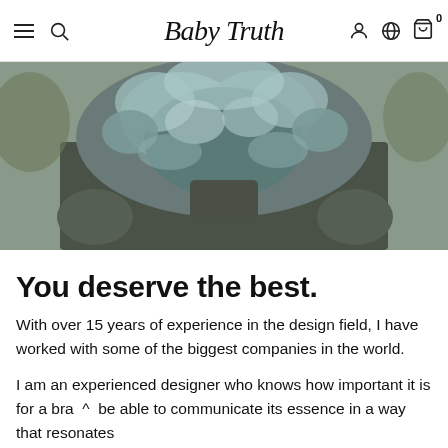Baby Truth
[Figure (photo): Close-up photo of a person with blue-gray wavy hair viewed from behind, wearing a dark gray long-sleeve top, with green foliage in the background.]
You deserve the best.
With over 15 years of experience in the design field, I have worked with some of the biggest companies in the world.
I am an experienced designer who knows how important it is for a brand to be able to communicate its essence in a way that resonates